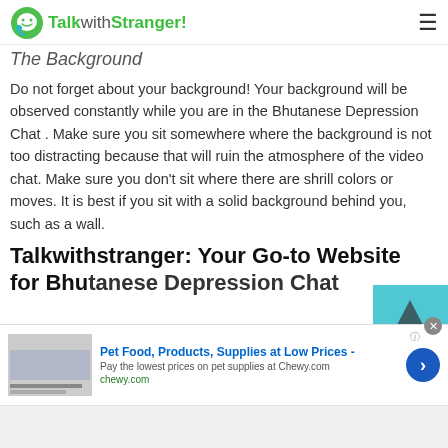TalkwithStranger!
The Background
Do not forget about your background! Your background will be observed constantly while you are in the Bhutanese Depression Chat . Make sure you sit somewhere where the background is not too distracting because that will ruin the atmosphere of the video chat. Make sure you don't sit where there are shrill colors or moves. It is best if you sit with a solid background behind you, such as a wall.
Talkwithstranger: Your Go-to Website for Bhutanese Depression Chat
[Figure (other): Advertisement banner for Chewy.com pet food and supplies with blue arrow button]